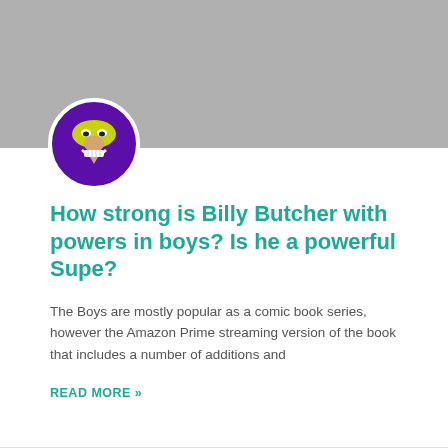[Figure (photo): Gray placeholder hero image banner at top of article card]
[Figure (logo): Circular purple avatar/logo with a stylized grinning face wearing a yellow mask, white border]
How strong is Billy Butcher with powers in boys? Is he a powerful Supe?
The Boys are mostly popular as a comic book series, however the Amazon Prime streaming version of the book that includes a number of additions and
READ MORE »